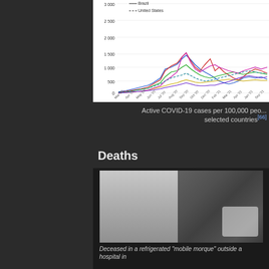[Figure (continuous-plot): Multi-line chart showing Active COVID-19 cases per 100,000 people in selected countries over time from Mar '20 to approx Oct '21. Lines in multiple colors (blue, red, green, yellow, pink, purple, dashed teal for United States, dashed dark for Brazil). Y-axis 0 to 3000. Legend shows Brazil and United States.]
Active COVID-19 cases per 100,000 people in selected countries[66]
Deaths
[Figure (photo): Photograph of deceased in a refrigerated mobile morgue outside a hospital. Left side shows exterior of refrigerated truck with white panels. Right side shows interior with body bags and a person in PPE.]
Deceased in a refrigerated "mobile morgue" outside a hospital in